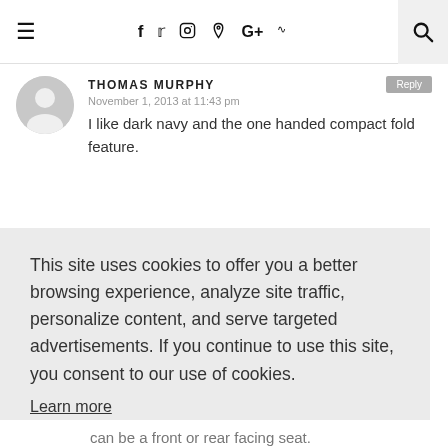Navigation bar with hamburger menu, social icons (f, twitter, instagram, pinterest, G+, rss), and search
THOMAS MURPHY
November 1, 2013 at 11:43 pm
I like dark navy and the one handed compact fold feature.
This site uses cookies to offer you a better browsing experience, analyze site traffic, personalize content, and serve targeted advertisements. If you continue to use this site, you consent to our use of cookies.
Learn more
I AGREE
can be a front or rear facing seat.